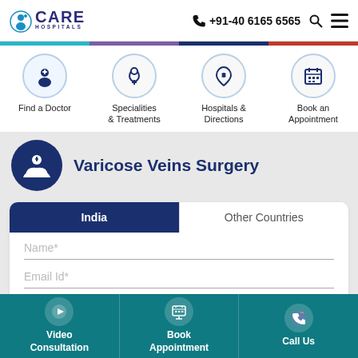CARE HOSPITALS | +91-40 6165 6565
[Figure (screenshot): Hospital website navigation with four icons: Find a Doctor, Specialities & Treatments, Hospitals & Directions, Book an Appointment]
Varicose Veins Surgery
India | Other Countries (tab selector)
Name*
Email Id*
Phone Number*
Video Consultation | Book Appointment | Call Us